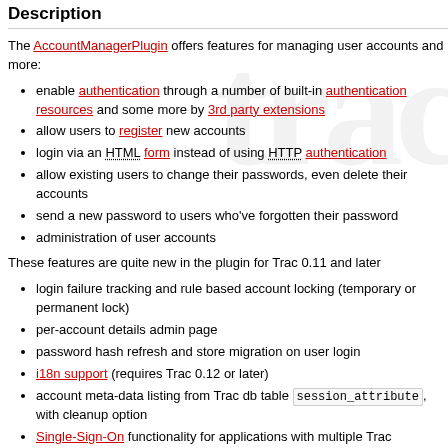Description
The AccountManagerPlugin offers features for managing user accounts and more:
enable authentication through a number of built-in authentication resources and some more by 3rd party extensions
allow users to register new accounts
login via an HTML form instead of using HTTP authentication
allow existing users to change their passwords, even delete their accounts
send a new password to users who've forgotten their password
administration of user accounts
These features are quite new in the plugin for Trac 0.11 and later
login failure tracking and rule based account locking (temporary or permanent lock)
per-account details admin page
password hash refresh and store migration on user login
i18n support (requires Trac 0.12 or later)
account meta-data listing from Trac db table session_attribute, with cleanup option
Single-Sign-On functionality for applications with multiple Trac environments per domain/host
mostly account-/user-related WikiMacros